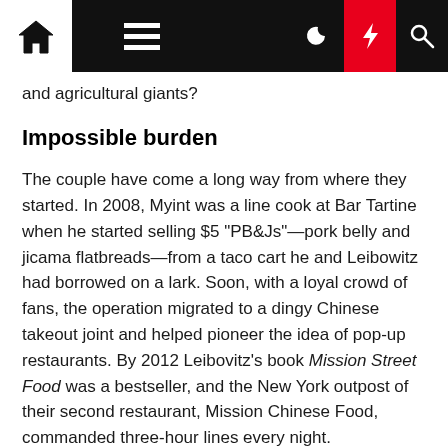[Navigation bar with home, menu, moon, lightning, and search icons]
and agricultural giants?
Impossible burden
The couple have come a long way from where they started. In 2008, Myint was a line cook at Bar Tartine when he started selling $5 "PB&Js"—pork belly and jicama flatbreads—from a taco cart he and Leibowitz had borrowed on a lark. Soon, with a loyal crowd of fans, the operation migrated to a dingy Chinese takeout joint and helped pioneer the idea of pop-up restaurants. By 2012 Leibovitz's book Mission Street Food was a bestseller, and the New York outpost of their second restaurant, Mission Chinese Food, commanded three-hour lines every night.
But Leibowitz says it was the birth of their daughter that year that inspired them to blow up the